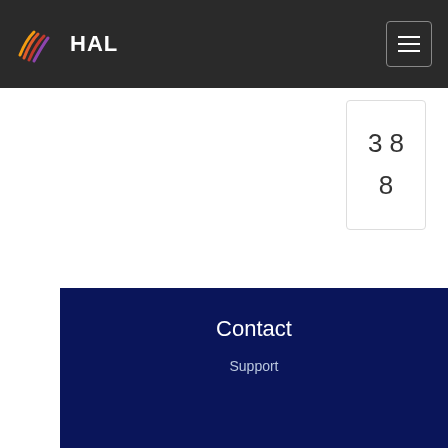HAL
3 8
8
LATEST DEPOSITS
[Figure (other): Loading spinner icon]
Contact
Support